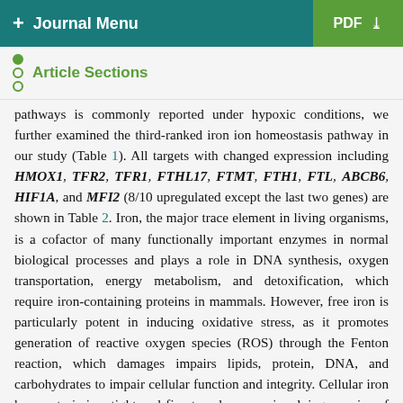+ Journal Menu | PDF ↓
Article Sections
pathways is commonly reported under hypoxic conditions, we further examined the third-ranked iron ion homeostasis pathway in our study (Table 1). All targets with changed expression including HMOX1, TFR2, TFR1, FTHL17, FTMT, FTH1, FTL, ABCB6, HIF1A, and MFI2 (8/10 upregulated except the last two genes) are shown in Table 2. Iron, the major trace element in living organisms, is a cofactor of many functionally important enzymes in normal biological processes and plays a role in DNA synthesis, oxygen transportation, energy metabolism, and detoxification, which require iron-containing proteins in mammals. However, free iron is particularly potent in inducing oxidative stress, as it promotes generation of reactive oxygen species (ROS) through the Fenton reaction, which damages impairs lipids, protein, DNA, and carbohydrates to impair cellular function and integrity. Cellular iron homeostasis is a tight and fine-tuned process involving a series of complex molecule interactions. These iron regulatory proteins include transferrin and transferrin receptor for iron import, ferroportin for